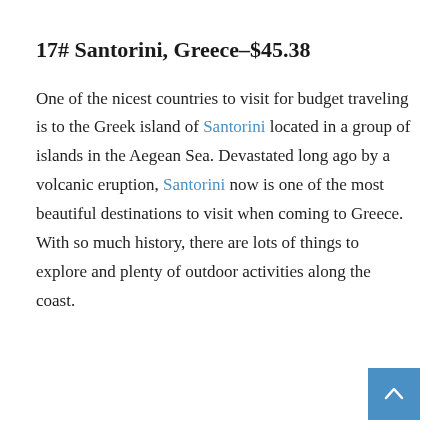17# Santorini, Greece–$45.38
One of the nicest countries to visit for budget traveling is to the Greek island of Santorini located in a group of islands in the Aegean Sea. Devastated long ago by a volcanic eruption, Santorini now is one of the most beautiful destinations to visit when coming to Greece. With so much history, there are lots of things to explore and plenty of outdoor activities along the coast.